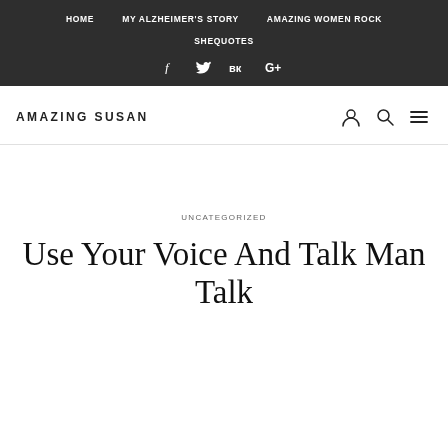HOME | MY ALZHEIMER'S STORY | AMAZING WOMEN ROCK | SHEQUOTES
f  ψ  ᴋ  G+
AMAZING SUSAN
UNCATEGORIZED
Use Your Voice And Talk Man Talk